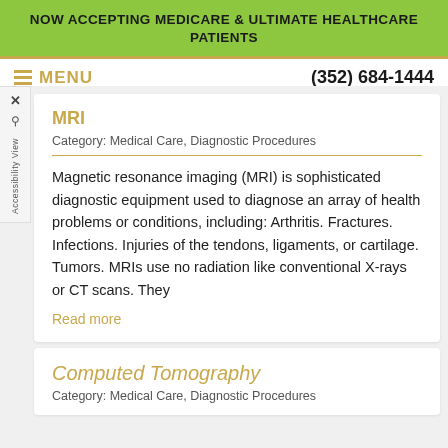NOW ACCEPTING MEDICARE & ULTIMATE HEALTHCARE PATIENTS
MENU   (352) 684-1444
MRI
Category: Medical Care, Diagnostic Procedures
Magnetic resonance imaging (MRI) is sophisticated diagnostic equipment used to diagnose an array of health problems or conditions, including: Arthritis. Fractures. Infections. Injuries of the tendons, ligaments, or cartilage. Tumors. MRIs use no radiation like conventional X-rays or CT scans. They
Read more
Computed Tomography
Category: Medical Care, Diagnostic Procedures